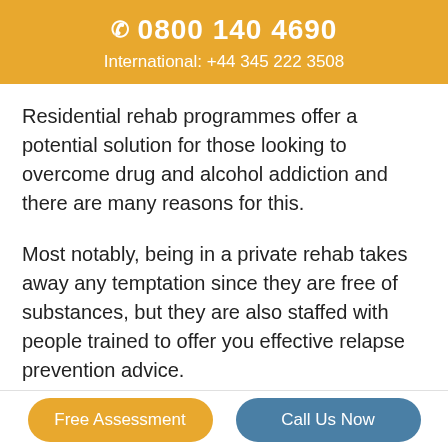📞 0800 140 4690
International: +44 345 222 3508
Residential rehab programmes offer a potential solution for those looking to overcome drug and alcohol addiction and there are many reasons for this.
Most notably, being in a private rehab takes away any temptation since they are free of substances, but they are also staffed with people trained to offer you effective relapse prevention advice.
Many people find that the stresses of life cause
Free Assessment   Call Us Now